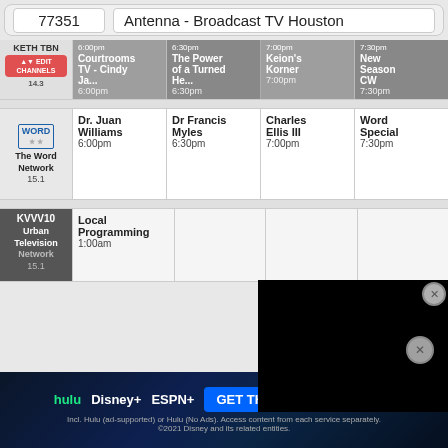77351  |  Antenna - Broadcast TV Houston
| Channel | 6:00pm | 6:30pm | 7:00pm | 7:30pm |
| --- | --- | --- | --- | --- |
| KETH TBN 14.3 | Courtrooms TV - Cindy Ja... 6:00pm | The Power of a Turned He... 6:30pm | Keion's Korner 7:00pm | New Season CW 7:30pm |
| The Word Network 15.1 | Dr. Juan Williams 6:00pm | Dr Francis Myles 6:30pm | Charles Ellis III 7:00pm | Word Special 7:30pm |
| KVVV10 Urban Television Network 15.1 | Local Programming 1:00am |  |  |  |
[Figure (screenshot): Black video overlay box with close button]
[Figure (infographic): Disney Bundle advertisement banner: hulu Disney+ ESPN+ GET THE DISNEY BUNDLE - Incl. Hulu (ad-supported) or Hulu (No Ads). Access content from each service separately. 2021 Disney and its related entities.]